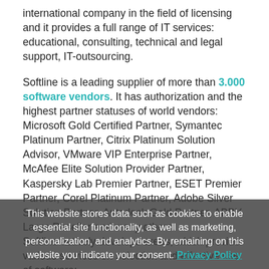international company in the field of licensing and it provides a full range of IT services: educational, consulting, technical and legal support, IT-outsourcing.
Softline is a leading supplier of more than 3.000 software vendors. It has authorization and the highest partner statuses of world vendors: Microsoft Gold Certified Partner, Symantec Platinum Partner, Citrix Platinum Solution Advisor, VMware VIP Enterprise Partner, McAfee Elite Solution Provider Partner, Kaspersky Lab Premier Partner, ESET Premier Partner, Corel Platinum Partner, Adobe Silver Solution Partner, Autodesk Gold Partner, ABBY Large Reseller and many others.
This website stores data such as cookies to enable essential site functionality, as well as marketing, personalization, and analytics. By remaining on this website you indicate your consent. Privacy Policy
Softline actively develops areas, which provide various services on selection and effective use of software:
Softline Services Department, which united a number